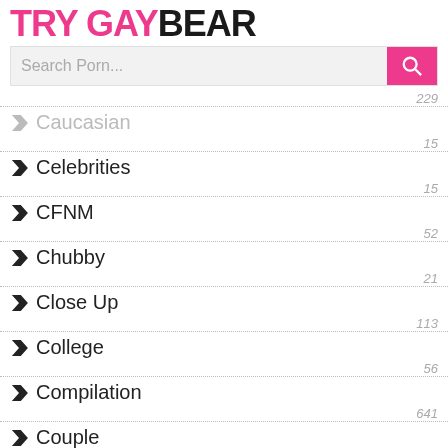TRY GAYBEAR
Caucasian — 229
Celebrities — 15
CFNM — 15
Chubby — 52
Close Up — 21
College — 113
Compilation — 56
Couple — 641
Creampie — 54
Cuckold — 11
Cum Swap — 11